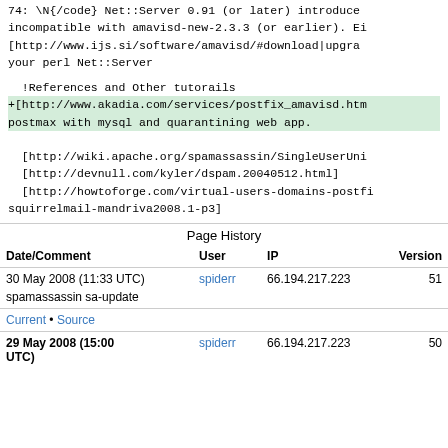74: \N{/code} Net::Server 0.91 (or later) introduced incompatible with amavisd-new-2.3.3 (or earlier). Either [http://www.ijs.si/software/amavisd/#download|upgrade your perl Net::Server
!References and Other tutorails
+[http://www.akadia.com/services/postfix_amavisd.htm postmax with mysql and quarantining web app.
  [http://wiki.apache.org/spamassassin/SingleUserUnix
  [http://devnull.com/kyler/dspam.20040512.html]
  [http://howtoforge.com/virtual-users-domains-postfix squirrelmail-mandriva2008.1-p3]
Page History
| Date/Comment | User | IP | Version |
| --- | --- | --- | --- |
| 30 May 2008 (11:33 UTC)
spamassassin sa-update | spiderr | 66.194.217.223 | 51 |
| 29 May 2008 (15:00 UTC) | spiderr | 66.194.217.223 | 50 |
Current • Source